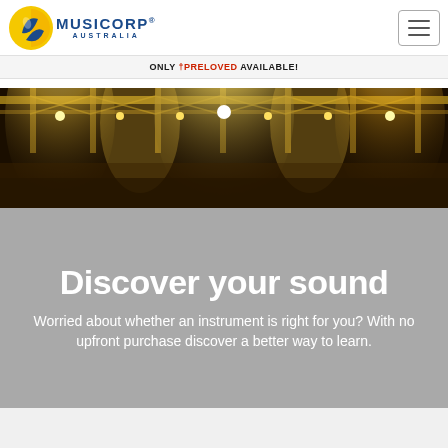[Figure (logo): Musicorp Australia logo with circular sun/wave icon and blue text]
ONLY †PRELOVED AVAILABLE!
[Figure (photo): Stage lighting rig with bright golden lights on truss structure]
Discover your sound
Worried about whether an instrument is right for you? With no upfront purchase discover a better way to learn.